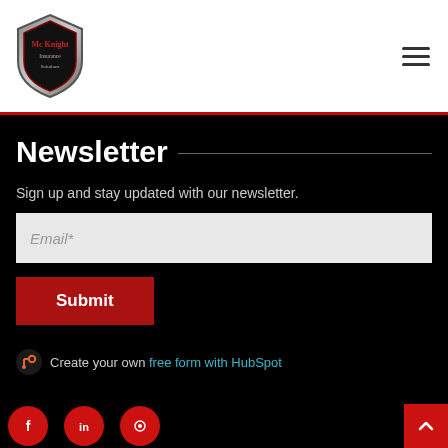[Figure (logo): Shield-shaped logo with decorative text, red and grey coloring]
Newsletter
Sign up and stay updated with our newsletter.
[Figure (other): Email input field with placeholder text 'Email*']
[Figure (other): Red Submit button]
Create your own free form with HubSpot